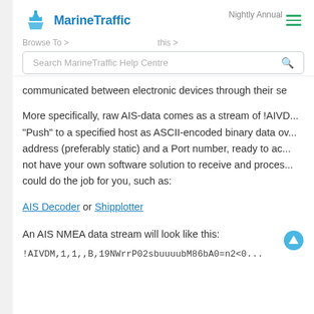MarineTraffic
Search MarineTraffic Help Centre
communicated between electronic devices through their se
More specifically, raw AIS-data comes as a stream of !AIVD... "Push" to a specified host as ASCII-encoded binary data ov... address (preferably static) and a Port number, ready to ac... not have your own software solution to receive and proces... could do the job for you, such as:
AIS Decoder or Shipplotter
An AIS NMEA data stream will look like this:
!AIVDM,1,1,,B,19NWrrP02sbuuuubM86bA0=n2<0...